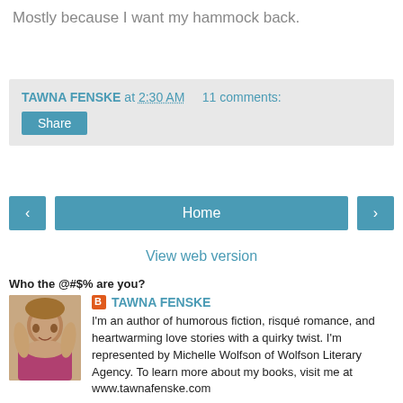Mostly because I want my hammock back.
TAWNA FENSKE at 2:30 AM   11 comments:
Share
[Figure (screenshot): Navigation bar with back arrow, Home button, and forward arrow]
View web version
Who the @#$% are you?
[Figure (photo): Profile photo of Tawna Fenske, a smiling woman with long hair]
TAWNA FENSKE
I'm an author of humorous fiction, risqué romance, and heartwarming love stories with a quirky twist. I'm represented by Michelle Wolfson of Wolfson Literary Agency. To learn more about my books, visit me at www.tawnafenske.com